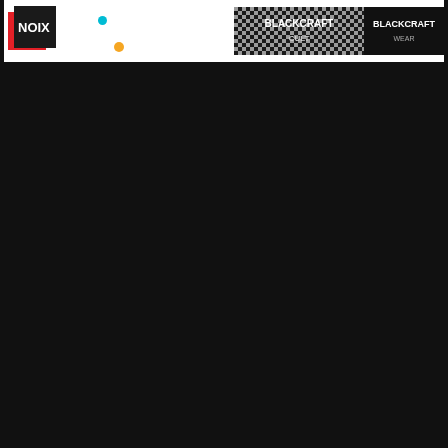[Figure (screenshot): Partial screenshot showing a white banner at the top of a dark/black background page. The banner contains: a NOIX logo (white text on black square with red square accent) on the left, a small blue dot and orange dot in the center-left area, and two dark logo/badge elements with pattern designs on the right side. The rest of the page is dark black background.]